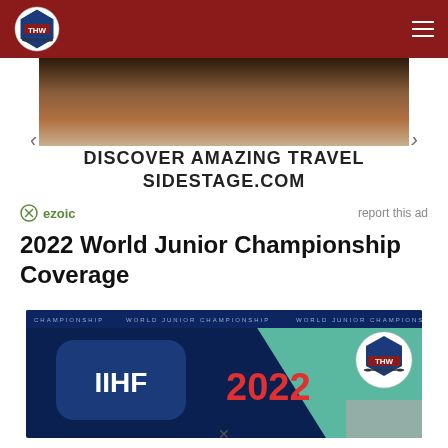THW - The Hockey Writers
[Figure (photo): Advertisement banner image showing dark landscape/travel scenery with navigation arrows and text: DISCOVER AMAZING TRAVEL SIDESTAGE.COM]
ezoic   report this ad
2022 World Junior Championship Coverage
[Figure (photo): IIHF 2022 World Junior Championship banner with THW logo, dark blue and teal design showing CHAMPIONSHIP WORLD JUNIOR CHAMPIONSHIP text and IIHF 2022 logos]